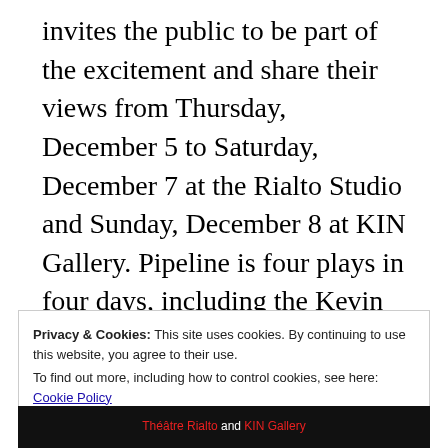invites the public to be part of the excitement and share their views from Thursday, December 5 to Saturday, December 7 at the Rialto Studio and Sunday, December 8 at KIN Gallery. Pipeline is four plays in four days, including the Kevin prize, first place winner from Infinithéâtre's annual Write-On-Q! script writing competition, named in memory of the late Kevin Tierney, renowned Canadian film producer, Montreal Gazette columnist & Infinithéâtre Board Member. The playwrights will be in attendance.
Privacy & Cookies: This site uses cookies. By continuing to use this website, you agree to their use. To find out more, including how to control cookies, see here: Cookie Policy
[Figure (other): Bottom banner showing Théâtre Rialto and KIN Gallery text with partial image]